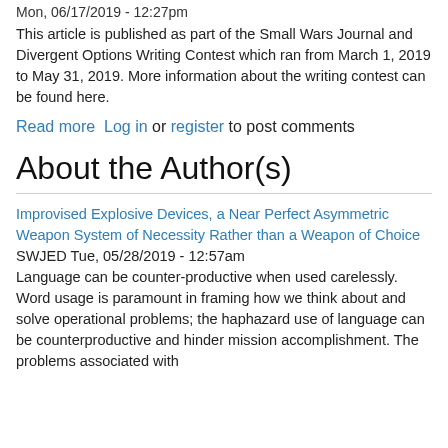Mon, 06/17/2019 - 12:27pm
This article is published as part of the Small Wars Journal and Divergent Options Writing Contest which ran from March 1, 2019 to May 31, 2019. More information about the writing contest can be found here.
Read more  Log in or register to post comments
About the Author(s)
Improvised Explosive Devices, a Near Perfect Asymmetric Weapon System of Necessity Rather than a Weapon of Choice SWJED Tue, 05/28/2019 - 12:57am Language can be counter-productive when used carelessly. Word usage is paramount in framing how we think about and solve operational problems; the haphazard use of language can be counterproductive and hinder mission accomplishment. The problems associated with